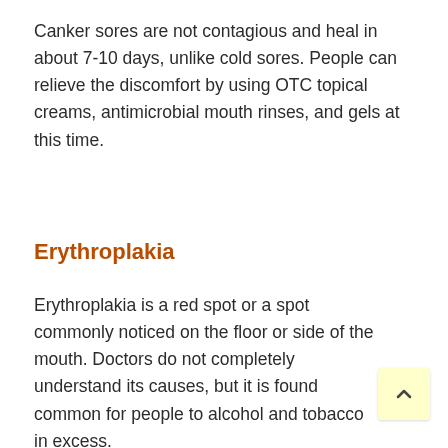Canker sores are not contagious and heal in about 7-10 days, unlike cold sores. People can relieve the discomfort by using OTC topical creams, antimicrobial mouth rinses, and gels at this time.
Erythroplakia
Erythroplakia is a red spot or a spot commonly noticed on the floor or side of the mouth. Doctors do not completely understand its causes, but it is found common for people to alcohol and tobacco in excess.